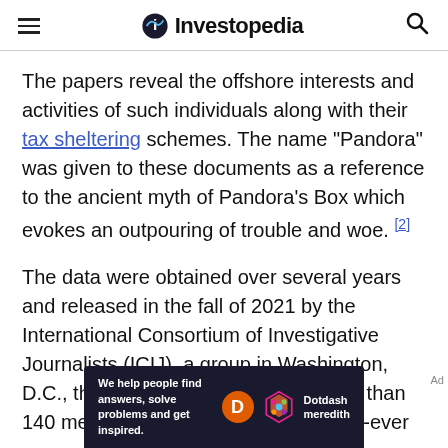Investopedia
The papers reveal the offshore interests and activities of such individuals along with their tax sheltering schemes. The name "Pandora" was given to these documents as a reference to the ancient myth of Pandora's Box which evokes an outpouring of trouble and woe.[2]
The data were obtained over several years and released in the fall of 2021 by the International Consortium of Investigative Journalists (ICIJ), a group in Washington, D.C., that has been working with more than 140 media organizations on its biggest-ever
[Figure (other): Dotdash Meredith advertisement banner: 'We help people find answers, solve problems and get inspired.']